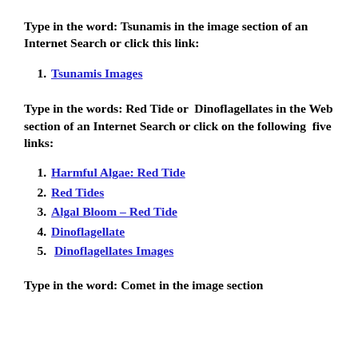Type in the word: Tsunamis in the image section of an Internet Search or click this link:
1. Tsunamis Images
Type in the words: Red Tide or  Dinoflagellates in the Web section of an Internet Search or click on the following  five links:
1. Harmful Algae: Red Tide
2. Red Tides
3. Algal Bloom – Red Tide
4. Dinoflagellate
5.  Dinoflagellates Images
Type in the word: Comet in the image section